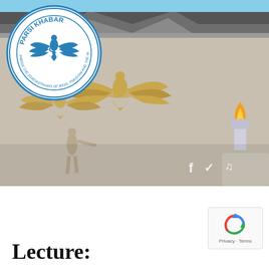[Figure (photo): Header photo of a Zoroastrian fire temple facade with golden Faravahar (winged figure) relief sculpture and human figure reliefs on stone wall, blue sky background. Parsi Khabar logo (blue circular badge with Faravahar and text 'PARSI KHABAR - PARSIS THE ZOROASTRIANS OF INDIA, PAKISTAN AND THE WORLD') in top left corner. Social media icons (f, bird, music note) visible at right side of image.]
[Figure (other): reCAPTCHA widget box showing the reCAPTCHA spinning arrow logo with 'Privacy - Terms' text below]
Lecture: